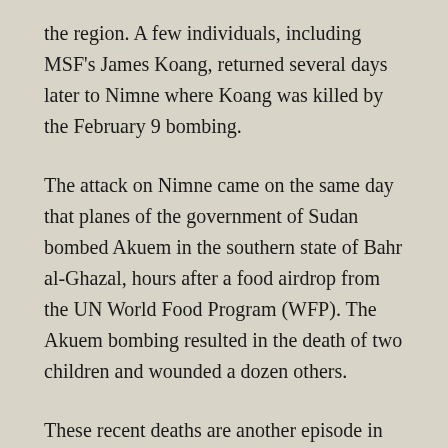the region. A few individuals, including MSF's James Koang, returned several days later to Nimne where Koang was killed by the February 9 bombing.
The attack on Nimne came on the same day that planes of the government of Sudan bombed Akuem in the southern state of Bahr al-Ghazal, hours after a food airdrop from the UN World Food Program (WFP). The Akuem bombing resulted in the death of two children and wounded a dozen others.
These recent deaths are another episode in the ongoing suffering of the population of western Upper Nile. Fighting between militia groups allied to both rebel and government forces has swept through the region in the past three years and caused repeated displacements, deaths, and humanitarian suffering. Health facilities and other services provided by humanitarian agencies have ceased to exist in many areas due